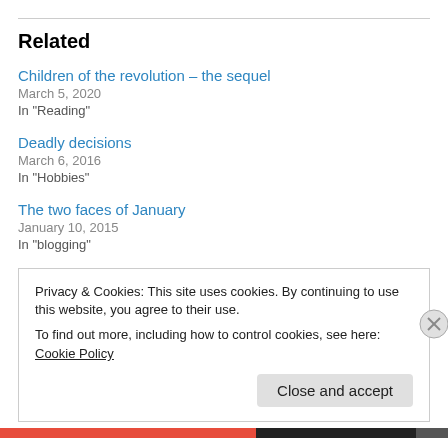Related
Children of the revolution – the sequel
March 5, 2020
In "Reading"
Deadly decisions
March 6, 2016
In "Hobbies"
The two faces of January
January 10, 2015
In "blogging"
Privacy & Cookies: This site uses cookies. By continuing to use this website, you agree to their use.
To find out more, including how to control cookies, see here: Cookie Policy